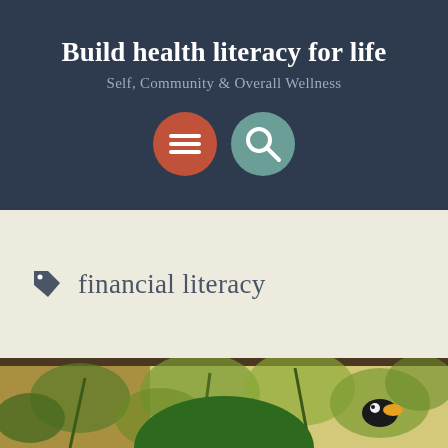Build health literacy for life
Self, Community & Overall Wellness
[Figure (illustration): Two circular icon buttons: an orange-red circle with a hamburger menu icon (three white lines), and a teal circle with a white magnifying glass search icon]
financial literacy
[Figure (photo): Bottom portion of page showing a tropical botanical illustration with green plants, flowers, and a toucan bird visible, plus a large dark green semi-circle at center bottom]